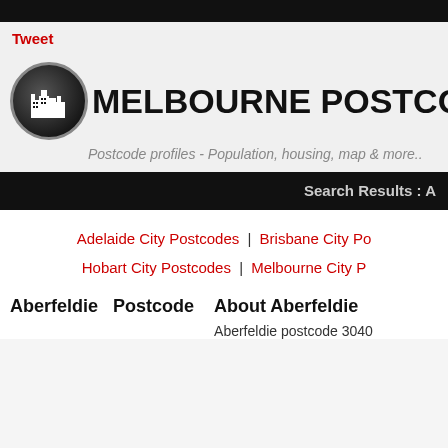Tweet
[Figure (logo): Black circle logo with white city/buildings silhouette icon]
MELBOURNE POSTCODES
Postcode profiles - Population, housing, map & more..
Search Results : A
Adelaide City Postcodes | Brisbane City Po
Hobart City Postcodes | Melbourne City P
Aberfeldie  Postcode
About Aberfeldie
Aberfeldie postcode 3040